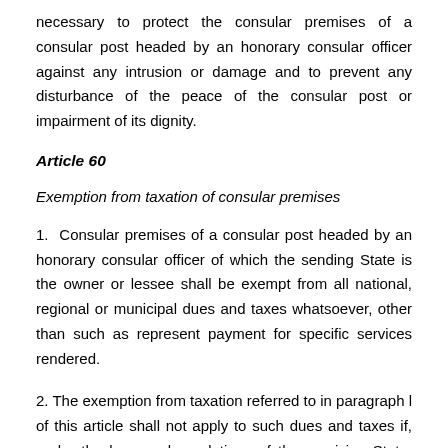necessary to protect the consular premises of a consular post headed by an honorary consular officer against any intrusion or damage and to prevent any disturbance of the peace of the consular post or impairment of its dignity.
Article 60
Exemption from taxation of consular premises
1.  Consular premises of a consular post headed by an honorary consular officer of which the sending State is the owner or lessee shall be exempt from all national, regional or municipal dues and taxes whatsoever, other than such as represent payment for specific services rendered.
2. The exemption from taxation referred to in paragraph l of this article shall not apply to such dues and taxes if, under the laws and regulations of the receiving State, they